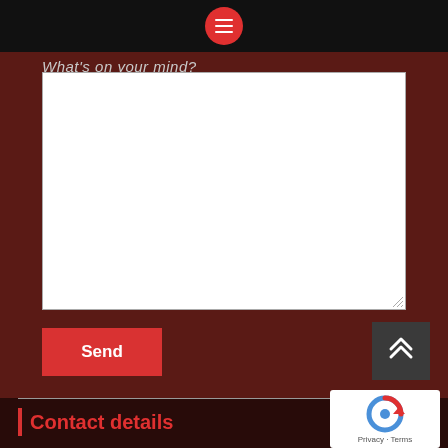[Figure (screenshot): Top navigation bar with red circular hamburger menu icon on black background]
What's on your mind?
[Figure (screenshot): White textarea input box for user to type a message]
Send
[Figure (screenshot): Dark gray scroll-to-top button with double chevron up arrow]
[Figure (screenshot): reCAPTCHA widget with logo and Privacy/Terms links]
| Contact details